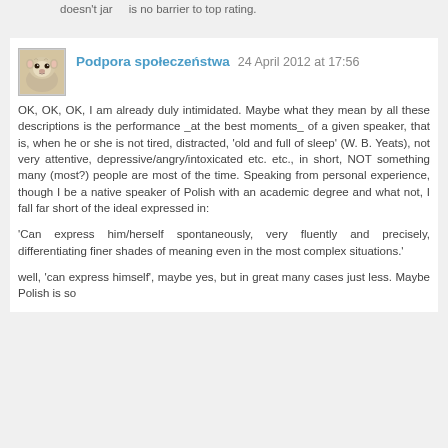doesn't jar    is no barrier to top rating.
Podpora społeczeństwa  24 April 2012 at 17:56
OK, OK, OK, I am already duly intimidated. Maybe what they mean by all these descriptions is the performance _at the best moments_ of a given speaker, that is, when he or she is not tired, distracted, 'old and full of sleep' (W. B. Yeats), not very attentive, depressive/angry/intoxicated etc. etc., in short, NOT something many (most?) people are most of the time. Speaking from personal experience, though I be a native speaker of Polish with an academic degree and what not, I fall far short of the ideal expressed in:
'Can express him/herself spontaneously, very fluently and precisely, differentiating finer shades of meaning even in the most complex situations.'
well, 'can express himself', maybe yes, but in great many cases just less. Maybe Polish is so